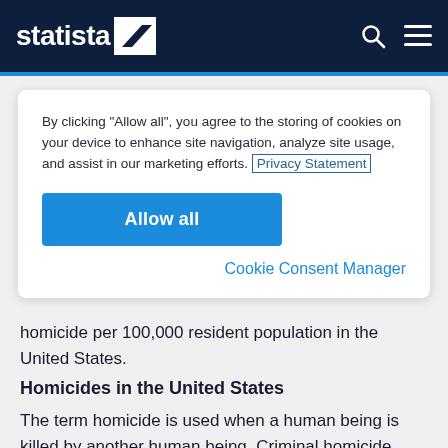statista
By clicking “Allow all”, you agree to the storing of cookies on your device to enhance site navigation, analyze site usage, and assist in our marketing efforts. Privacy Statement
Allow all
Cookie Consent Manager
homicide per 100,000 resident population in the United States.
Homicides in the United States
The term homicide is used when a human being is killed by another human being. Criminal homicide takes several forms, for example murder; but homicide is not always a